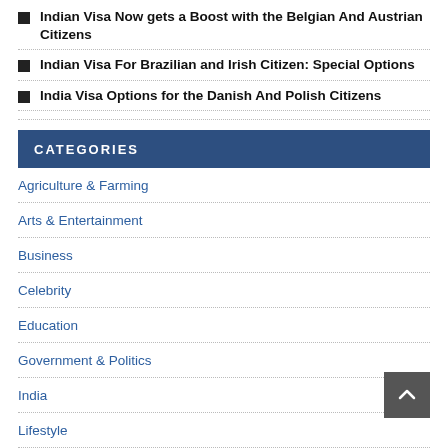Indian Visa Now gets a Boost with the Belgian And Austrian Citizens
Indian Visa For Brazilian and Irish Citizen: Special Options
India Visa Options for the Danish And Polish Citizens
CATEGORIES
Agriculture & Farming
Arts & Entertainment
Business
Celebrity
Education
Government & Politics
India
Lifestyle
Press Release
Retail